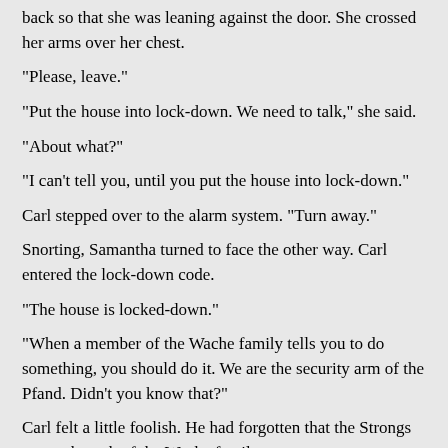back so that she was leaning against the door. She crossed her arms over her chest.
"Please, leave."
"Put the house into lock-down. We need to talk," she said.
"About what?"
"I can't tell you, until you put the house into lock-down."
Carl stepped over to the alarm system. "Turn away."
Snorting, Samantha turned to face the other way. Carl entered the lock-down code.
"The house is locked-down."
"When a member of the Wache family tells you to do something, you should do it. We are the security arm of the Pfand. Didn't you know that?"
Carl felt a little foolish. He had forgotten that the Strongs were a branch of the Wache family.